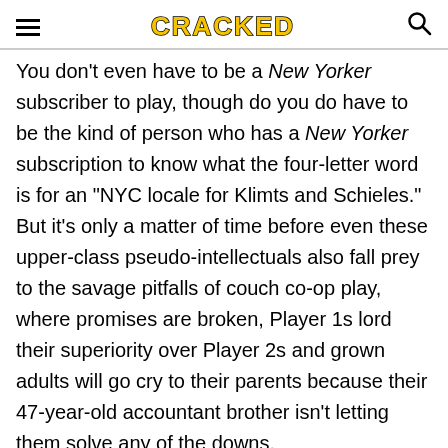CRACKED
You don't even have to be a New Yorker subscriber to play, though do you do have to be the kind of person who has a New Yorker subscription to know what the four-letter word is for an "NYC locale for Klimts and Schieles." But it's only a matter of time before even these upper-class pseudo-intellectuals also fall prey to the savage pitfalls of couch co-op play, where promises are broken, Player 1s lord their superiority over Player 2s and grown adults will go cry to their parents because their 47-year-old accountant brother isn't letting them solve any of the downs.